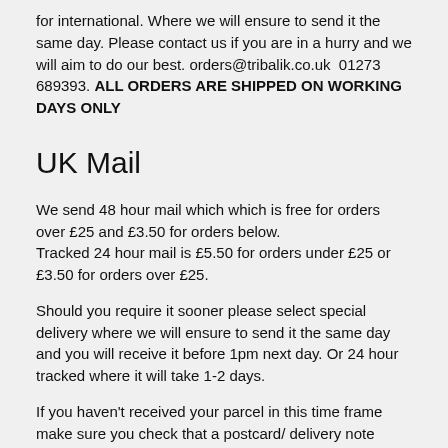for international. Where we will ensure to send it the same day. Please contact us if you are in a hurry and we will aim to do our best. orders@tribalik.co.uk  01273 689393. ALL ORDERS ARE SHIPPED ON WORKING DAYS ONLY
UK Mail
We send 48 hour mail which which is free for orders over £25 and £3.50 for orders below.
Tracked 24 hour mail is £5.50 for orders under £25 or £3.50 for orders over £25.
Should you require it sooner please select special delivery where we will ensure to send it the same day and you will receive it before 1pm next day. Or 24 hour tracked where it will take 1-2 days.
If you haven't received your parcel in this time frame make sure you check that a postcard/ delivery note hasn't been left at your address saying "a parcel is waiting for you at